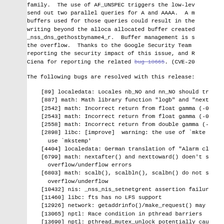family.  The use of AF_UNSPEC triggers the low-level send out two parallel queries for A and AAAA.  A m buffers used for those queries could result in the writing beyond the alloca allocated buffer created _nss_dns_gethostbyname4_r.  Buffer management is s the overflow.  Thanks to the Google Security Team reporting the security impact of this issue, and R Ciena for reporting the related bug 18665. (CVE-20
The following bugs are resolved with this release:
[89] localedata: Locales nb_NO and nn_NO should tr
[887] math: Math library function "logb" and "next
[2542] math: Incorrect return from float gamma (-0
[2543] math: Incorrect return from float gamma (-0
[2558] math: Incorrect return from double gamma (-
[2898] libc: [improve]  warning: the use of `mkte use `mkstemp'
[4404] localedata: German translation of "Alarm cl
[6799] math: nextafter() and nexttoward() doen't s overflow/underflow errors
[6803] math: scalb(), scalbln(), scalbn() do not s overflow/underflow
[10432] nis: _nss_nis_setnetgrent assertion failur
[11460] libc: fts has no LFS support
[12926] network: getaddrinfo()/make_request() may
[13065] nptl: Race condition in pthread barriers
[13690] nptl: pthread_mutex_unlock potentially cau
[14341] dynamic-link: Dynamic linker crash when DT are not contiguous
[14...] ...